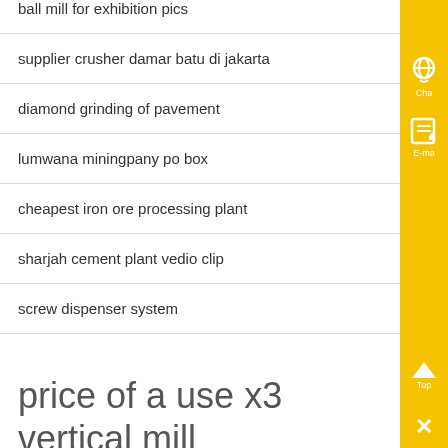ball mill for exhibition pics
supplier crusher damar batu di jakarta
diamond grinding of pavement
lumwana miningpany po box
cheapest iron ore processing plant
sharjah cement plant vedio clip
screw dispenser system
price of a use x3 vertical mill
[Figure (photo): Industrial machinery photo, partially visible, showing large equipment with diagonal red lines/pipes]